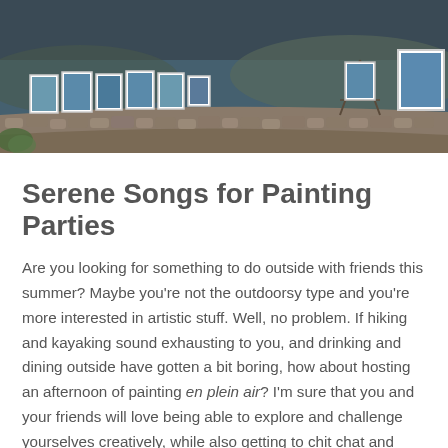[Figure (photo): Outdoor art exhibition along a stone wall path, with multiple framed paintings or photographs displayed along a curved stone wall. Easels and artwork are visible, with a seaside or lakeside setting in the background.]
Serene Songs for Painting Parties
Are you looking for something to do outside with friends this summer? Maybe you're not the outdoorsy type and you're more interested in artistic stuff. Well, no problem. If hiking and kayaking sound exhausting to you, and drinking and dining outside have gotten a bit boring, how about hosting an afternoon of painting en plein air? I'm sure that you and your friends will love being able to explore and challenge yourselves creatively, while also getting to chit chat and enjoy the beautiful weather!